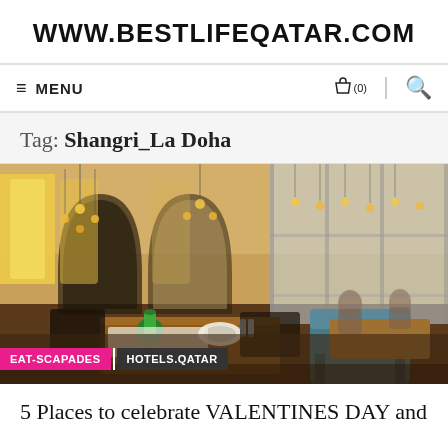WWW.BESTLIFEQATAR.COM
≡ MENU
Tag: Shangri_La Doha
[Figure (photo): Interior of an elegant restaurant with wooden tables, blue chairs, chandeliers with warm globe lights, arched windows with yellow stained glass panels, and a mirrored wall. Tags: EAT-SCAPADES | HOTELS.QATAR]
5 Places to celebrate VALENTINES DAY and